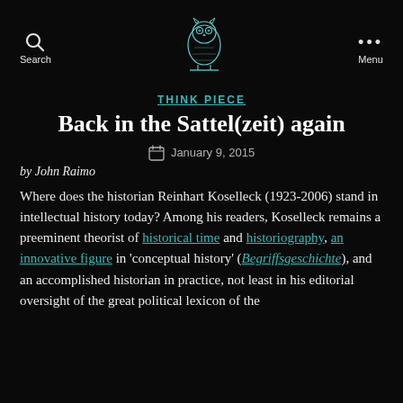Search | [owl logo] | Menu
THINK PIECE
Back in the Sattel(zeit) again
January 9, 2015
by John Raimo
Where does the historian Reinhart Koselleck (1923-2006) stand in intellectual history today? Among his readers, Koselleck remains a preeminent theorist of historical time and historiography, an innovative figure in ‘conceptual history’ (Begriffsgeschichte), and an accomplished historian in practice, not least in his editorial oversight of the great political lexicon of the